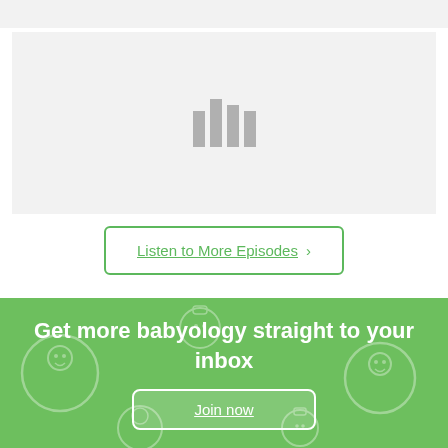[Figure (other): Gray placeholder block with loading/audio bars icon in the center]
Listen to More Episodes >
Get more babyology straight to your inbox
Join now